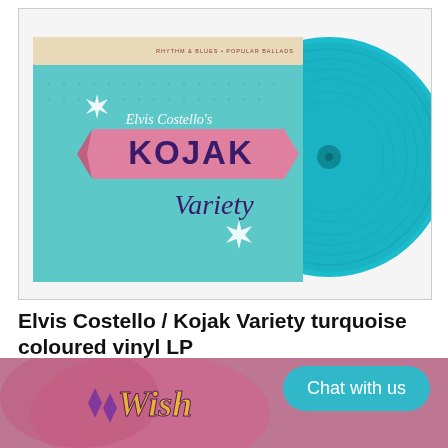[Figure (photo): Album cover photo showing Elvis Costello's Kojak Variety LP with turquoise coloured vinyl record partially out of sleeve. The sleeve has a teal/mint color with pink geometric shapes and retro text reading 'Elvis Costello's KOJAK Variety'. The turquoise vinyl record is visible to the right of the sleeve.]
Elvis Costello / Kojak Variety turquoise coloured vinyl LP
£30.00
No reviews
[Figure (photo): Partial view of another album cover at bottom of page with colorful psychedelic artwork]
Chat with us